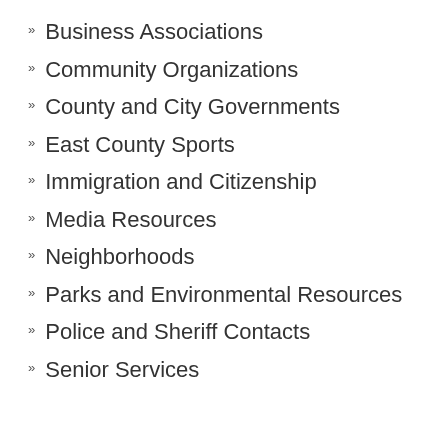Business Associations
Community Organizations
County and City Governments
East County Sports
Immigration and Citizenship
Media Resources
Neighborhoods
Parks and Environmental Resources
Police and Sheriff Contacts
Senior Services